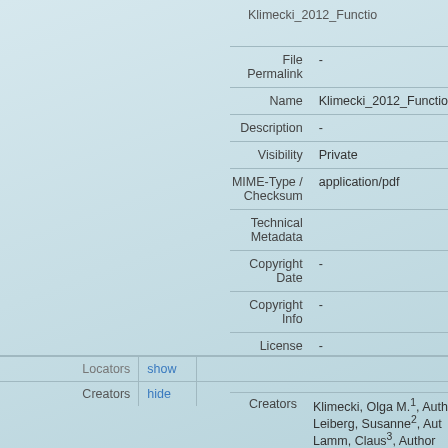Klimecki_2012_Functio
| Field | Value |
| --- | --- |
| File Permalink | - |
| Name | Klimecki_2012_Functio |
| Description | - |
| Visibility | Private |
| MIME-Type / Checksum | application/pdf |
| Technical Metadata |  |
| Copyright Date | - |
| Copyright Info | - |
| License | - |
| Section | Action |
| --- | --- |
| Locators | show |
| Creators | hide |
| Field | Value |
| --- | --- |
| Creators | Klimecki, Olga M.1, Auth
Leiberg, Susanne2, Aut
Lamm, Claus3, Author
Singer, Tania1, 2, Autho |
| Affiliations | 1   Department Social
    Society, ou_63455 |